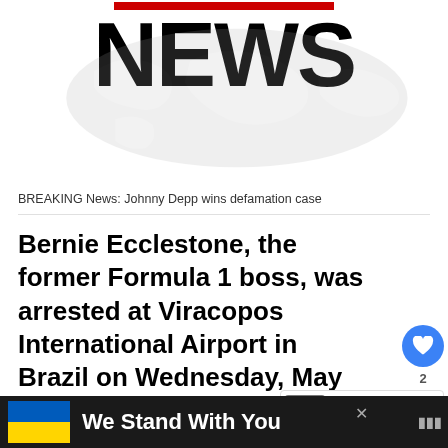[Figure (logo): NEWS logo with red bar on top and world map background in gray]
BREAKING News: Johnny Depp wins defamation case
Bernie Ecclestone, the former Formula 1 boss, was arrested at Viracopos International Airport in Brazil on Wednesday, May 25 after an x-ray showed that he was trying to board a plane to Switzerland with a gun.
Former F1 boss Bernie Ecclestone was detained...
[Figure (infographic): We Stand With You banner with Ukraine flag colors]
[Figure (screenshot): WHAT'S NEXT panel: Estepona police arrest...]